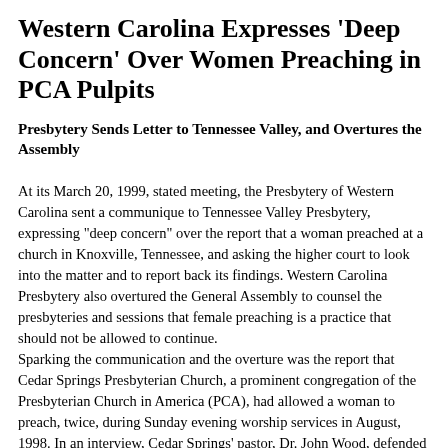Western Carolina Expresses 'Deep Concern' Over Women Preaching in PCA Pulpits
Presbytery Sends Letter to Tennessee Valley, and Overtures the Assembly
At its March 20, 1999, stated meeting, the Presbytery of Western Carolina sent a communique to Tennessee Valley Presbytery, expressing "deep concern" over the report that a woman preached at a church in Knoxville, Tennessee, and asking the higher court to look into the matter and to report back its findings. Western Carolina Presbytery also overtured the General Assembly to counsel the presbyteries and sessions that female preaching is a practice that should not be allowed to continue. Sparking the communication and the overture was the report that Cedar Springs Presbyterian Church, a prominent congregation of the Presbyterian Church in America (PCA), had allowed a woman to preach, twice, during Sunday evening worship services in August, 1998. In an interview, Cedar Springs' pastor, Dr. John Wood, defended the practice, and stated that having a woman bring the message during public worship had occurred on other